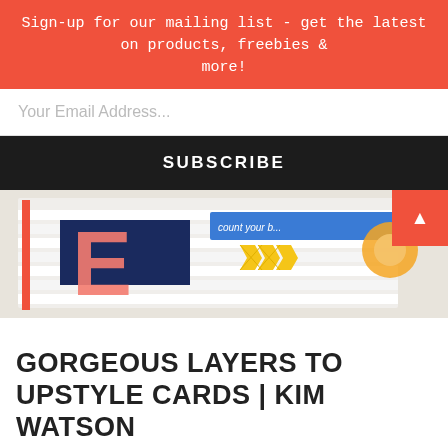Sign-up for our mailing list - get the latest on products, freebies & more!
Your Email Address...
SUBSCRIBE
[Figure (photo): Close-up photo of colorful layered greeting cards with letters and decorative elements including a blue banner reading 'count your b...' and yellow chevron decorations]
GORGEOUS LAYERS TO UPSTYLE CARDS | KIM WATSON
November 7, 2017
With the fall in the air & the the holidays just around the corner, how about we make a few cards ready for your